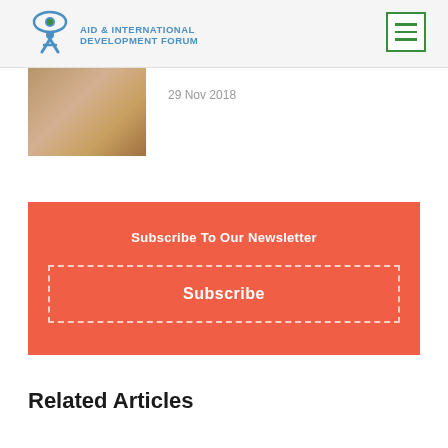AID & INTERNATIONAL DEVELOPMENT FORUM
[Figure (photo): Thumbnail photo of food/grain related image, partially visible]
29 Nov 2018
Subscribe To Our Newsletter
Subscribe
Related Articles